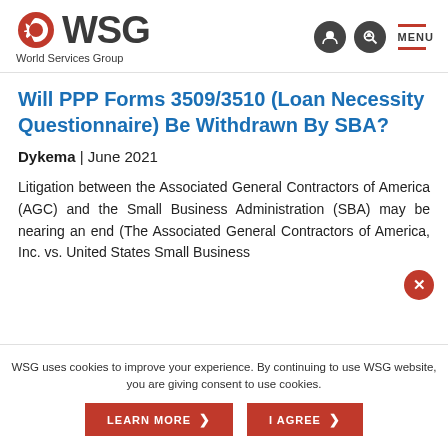WSG World Services Group
Will PPP Forms 3509/3510 (Loan Necessity Questionnaire) Be Withdrawn By SBA?
Dykema | June 2021
Litigation between the Associated General Contractors of America (AGC) and the Small Business Administration (SBA) may be nearing an end (The Associated General Contractors of America, Inc. vs. United States Small Business
WSG uses cookies to improve your experience. By continuing to use WSG website, you are giving consent to use cookies.
LEARN MORE
I AGREE